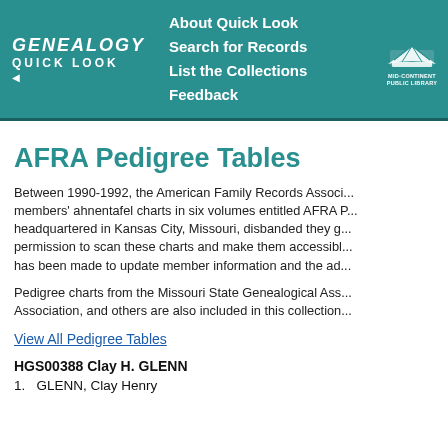GENEALOGY QUICK LOOK | About Quick Look | Search for Records | List the Collections | Feedback | MID-CONTINENT PUBLIC LIBRARY
AFRA Pedigree Tables
Between 1990-1992, the American Family Records Association published members' ahnentafel charts in six volumes entitled AFRA Pedigree Tables. headquartered in Kansas City, Missouri, disbanded they gave permission to scan these charts and make them accessible. has been made to update member information and the ad...
Pedigree charts from the Missouri State Genealogical Association, and others are also included in this collection.
View All Pedigree Tables
HGS00388 Clay H. GLENN
1. GLENN, Clay Henry